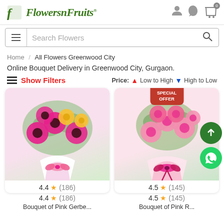[Figure (logo): FlowersnFruits logo with green italic script text and stylized F icon]
[Figure (screenshot): Search bar with hamburger menu icon, 'Search Flowers' placeholder text, and magnifier icon]
Home / All Flowers Greenwood City
Online Bouquet Delivery in Greenwood City, Gurgaon.
≡ Show Filters   Price: ↑ Low to High ↓ High to Low
[Figure (photo): Bouquet of pink gerbera daisies and yellow roses wrapped in white and pink paper]
4.4 ★ (186)
[Figure (photo): Bouquet of pink roses wrapped in pink paper with pink ribbon bow, SPECIAL OFFER badge at top]
4.5 ★ (145)